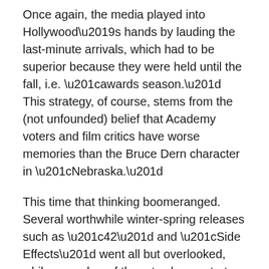Once again, the media played into Hollywood’s hands by lauding the last-minute arrivals, which had to be superior because they were held until the fall, i.e. “awards season.” This strategy, of course, stems from the (not unfounded) belief that Academy voters and film critics have worse memories than the Bruce Dern character in “Nebraska.”
This time that thinking boomeranged. Several worthwhile winter-spring releases such as “42” and “Side Effects” went all but overlooked, while a number of the arty, desperate-to-please holiday arrivals – “Inside Llewyn Davis” and “The Wolf of Wall Street,” for starters – monopolized the year-end critics awards and Golden Globe nominations.
With this in mind, I purposely sorted through the entire year for my favorites. The movies that stood out, in no